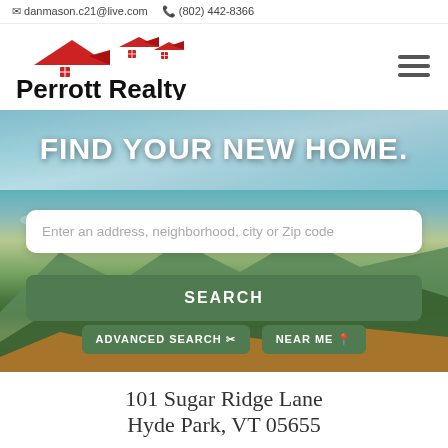danmason.c21@live.com  (802) 442-8366
[Figure (logo): Perrott Realty logo with red house rooflines above the text 'Perrott Realty' in bold black]
[Figure (photo): Hero banner with scenic Vermont landscape — mountains, forests, colorful autumn foliage, and sky with clouds. Text overlay reads 'FIND YOUR NEW HOME.' with a search input field, a SEARCH button, and two smaller buttons: ADVANCED SEARCH and NEAR ME]
101 Sugar Ridge Lane
Hyde Park, VT 05655